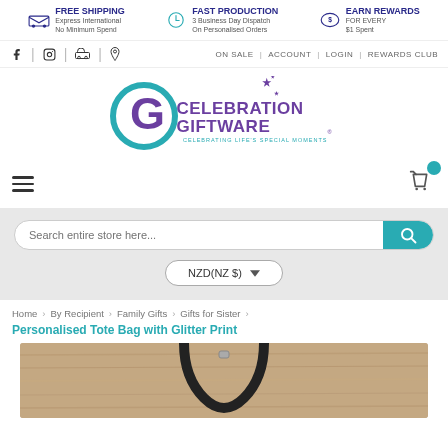[Figure (screenshot): Website header banner with three promotional items: FREE SHIPPING Express International No Minimum Spend, FAST PRODUCTION 3 Business Day Dispatch On Personalised Orders, EARN REWARDS FOR EVERY $1 Spent]
[Figure (screenshot): Navigation bar with social media icons (Facebook, Instagram, car, location pin) on left and ON SALE | ACCOUNT | LOGIN | REWARDS CLUB links on right]
[Figure (logo): Celebration Giftware logo - teal swirl G with purple text CELEBRATION GIFTWARE and tagline CELEBRATING LIFE'S SPECIAL MOMENTS with stars]
[Figure (screenshot): Hamburger menu icon on left and shopping cart icon with teal badge on right]
[Figure (screenshot): Search bar with placeholder text 'Search entire store here...' and teal search button, below it currency selector showing NZD(NZ $)]
Home > By Recipient > Family Gifts > Gifts for Sister >
Personalised Tote Bag with Glitter Print
[Figure (photo): Partial product photo of a tote bag with black straps hanging against a wooden background]